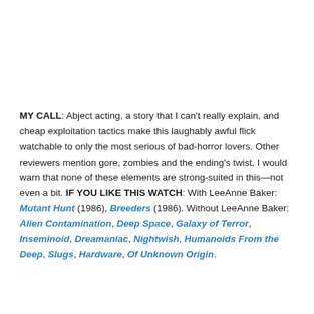MY CALL: Abject acting, a story that I can't really explain, and cheap exploitation tactics make this laughably awful flick watchable to only the most serious of bad-horror lovers. Other reviewers mention gore, zombies and the ending's twist. I would warn that none of these elements are strong-suited in this—not even a bit. IF YOU LIKE THIS WATCH: With LeeAnne Baker: Mutant Hunt (1986), Breeders (1986). Without LeeAnne Baker: Alien Contamination, Deep Space, Galaxy of Terror, Inseminoid, Dreamaniac, Nightwish, Humanoids From the Deep, Slugs, Hardware, Of Unknown Origin.